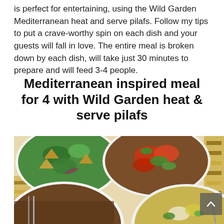is perfect for entertaining, using the Wild Garden Mediterranean heat and serve pilafs. Follow my tips to put a crave-worthy spin on each dish and your guests will fall in love. The entire meal is broken down by each dish, will take just 30 minutes to prepare and will feed 3-4 people.
Mediterranean inspired meal for 4 with Wild Garden heat & serve pilafs
[Figure (photo): Overhead view of multiple white bowls containing Mediterranean dishes including a grain salad with tomatoes and herbs, a green salad with pita chips, a rice dish, and a bowl with eggs and greens, arranged on a patterned tablecloth.]